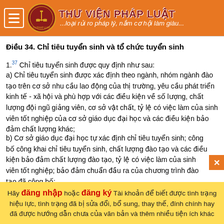THƯ VIỆN PHÁP LUẬT — ...loại rủi ro pháp lý, nắm cơ hội làm giàu...
Điều 34. Chỉ tiêu tuyển sinh và tổ chức tuyển sinh
1.37 Chỉ tiêu tuyển sinh được quy định như sau:
a) Chỉ tiêu tuyển sinh được xác định theo ngành, nhóm ngành đào tạo trên cơ sở nhu cầu lao động của thị trường, yêu cầu phát triển kinh tế - xã hội và phù hợp với các điều kiện về số lượng, chất lượng đội ngũ giảng viên, cơ sở vật chất, tỷ lệ có việc làm của sinh viên tốt nghiệp của cơ sở giáo dục đại học và các điều kiện bảo đảm chất lượng khác;
b) Cơ sở giáo dục đại học tự xác định chỉ tiêu tuyển sinh; công bố công khai chỉ tiêu tuyển sinh, chất lượng đào tạo và các điều kiện bảo đảm chất lượng đào tạo, tỷ lệ có việc làm của sinh viên tốt nghiệp; bảo đảm chuẩn đầu ra của chương trình đào tạo đã công bố;
Hãy đăng nhập hoặc đăng ký Tài khoản để biết được tình trạng hiệu lực, tình trạng đã bị sửa đổi, bổ sung, thay thế, đính chính hay đã được hướng dẫn chưa của văn bản và thêm nhiều tiện ích khác